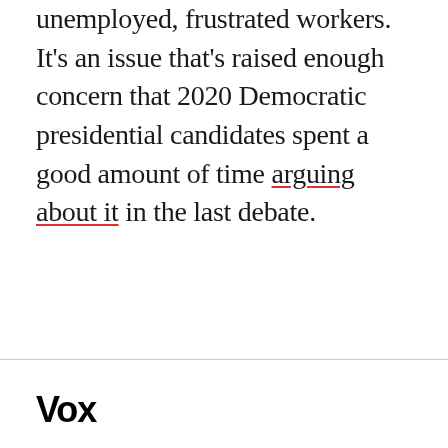unemployed, frustrated workers. It's an issue that's raised enough concern that 2020 Democratic presidential candidates spent a good amount of time arguing about it in the last debate.
Vox